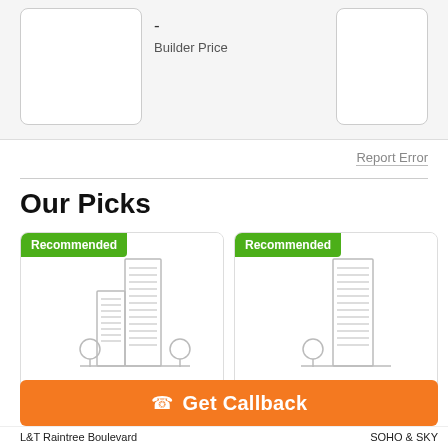[Figure (screenshot): Left image placeholder box (white rounded rectangle)]
-
Builder Price
[Figure (screenshot): Right image placeholder box (white rounded rectangle)]
Report Error
Our Picks
[Figure (illustration): Recommended card with building illustration, green Recommended badge, L&T Raintree Boulevard]
[Figure (illustration): Recommended card with building illustration, Elevation label, green Recommended badge, SOHO & SKY]
Get Callback
L&T Raintree Boulevard
SOHO & SKY